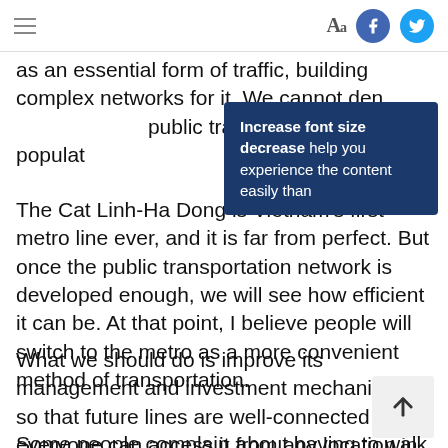≡  Aa  [Facebook] [Twitter]
as an essential form of traffic, building complex networks for it. We cannot den... public transport to the populat...
Increase font size decrease help you experience the content easily than
The Cat Linh-Ha Dong is Vietnam's first metro line ever, and it is far from perfect. But once the public transportation network is developed enough, we will see how efficient it can be. At that point, I believe people will switch to the metro as a more convenient method of transportation.
What we should do is improve its management and investment mechanisms, so that future lines are well-connected and everyone can access it from any location in the city.
Some people complain about having to walk 1-2 km